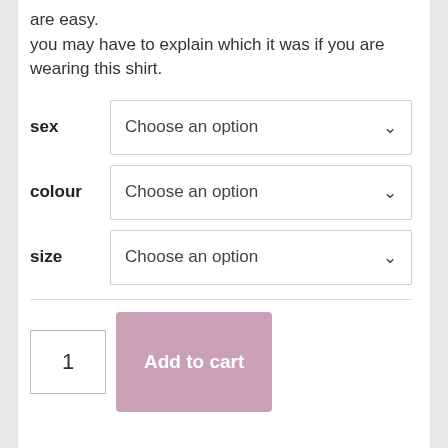are easy.
you may have to explain which it was if you are wearing this shirt.
sex   Choose an option
colour   Choose an option
size   Choose an option
1   Add to cart